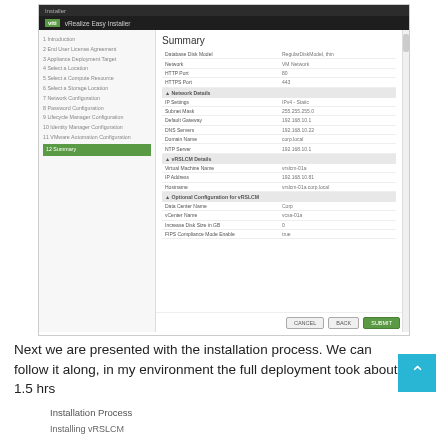[Figure (screenshot): VMware vRealize Easy Installer screenshot showing the Summary page with a sidebar navigation listing steps 1-12 (Introduction through Summary), and a main content area showing a summary table with database deployment model, network, HTTP/HTTPS port, network details including IP settings, subnet mask, default gateway, DNS servers, domain name, NTP server, vRSLCM details with virtual machine name, IP address, hostname, and optional configuration for vRSLCM. Cancel, Back, and Submit buttons at the bottom.]
Next we are presented with the installation process. We can follow it along, in my environment the full deployment took about 1.5 hrs
Installation Process
Installing vRSLCM